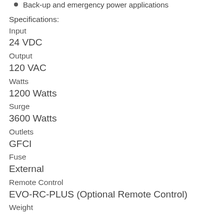Back-up and emergency power applications
Specifications:
Input
24 VDC
Output
120 VAC
Watts
1200 Watts
Surge
3600 Watts
Outlets
GFCI
Fuse
External
Remote Control
EVO-RC-PLUS (Optional Remote Control)
Weight